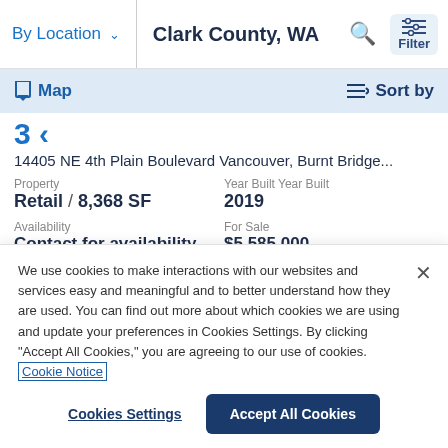By Location  ∨  Clark County, WA
Map   Sort by
14405 NE 4th Plain Boulevard Vancouver, Burnt Bridge...
| Property | Year Built Year Built |
| --- | --- |
| Retail / 8,368 SF | 2019 |
| Availability | For Sale |
| --- | --- |
| Contact for availability | $5,585,000 |
We use cookies to make interactions with our websites and services easy and meaningful and to better understand how they are used. You can find out more about which cookies we are using and update your preferences in Cookies Settings. By clicking "Accept All Cookies," you are agreeing to our use of cookies. Cookie Notice
Cookies Settings   Accept All Cookies